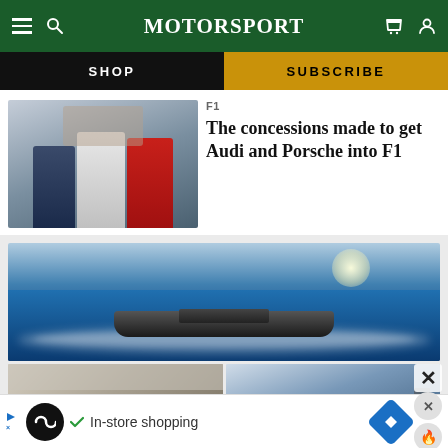MotorSport
SHOP
SUBSCRIBE
F1
The concessions made to get Audi and Porsche into F1
[Figure (photo): Yacht speeding on ocean water, aerial view with wake behind it]
[Figure (photo): Interior architectural photo]
[Figure (photo): Outdoor scene with equipment]
In-store shopping